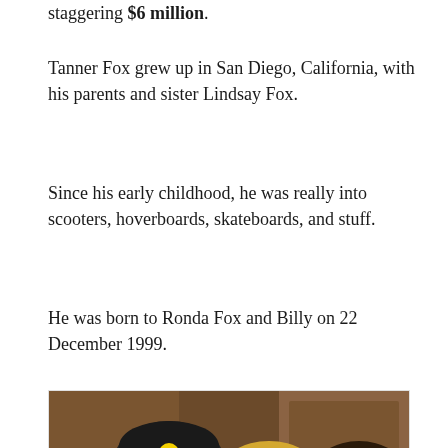staggering $6 million.
Tanner Fox grew up in San Diego, California, with his parents and sister Lindsay Fox.
Since his early childhood, he was really into scooters, hoverboards, skateboards, and stuff.
He was born to Ronda Fox and Billy on 22 December 1999.
[Figure (photo): A photograph of three people smiling together indoors — a young man wearing a black beanie with a smiley face, a blonde woman in the middle, and a young dark-haired woman on the right, with wood-paneled cabinetry in the background.]